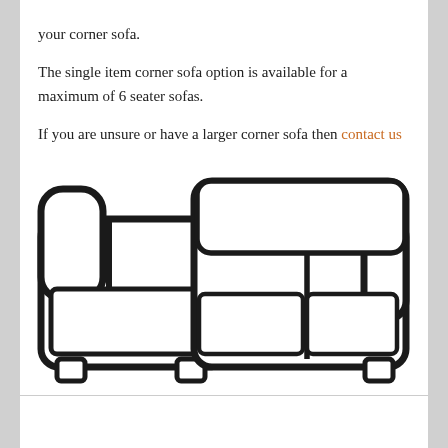your corner sofa.

The single item corner sofa option is available for a maximum of 6 seater sofas.

If you are unsure or have a larger corner sofa then contact us for a quote.
[Figure (illustration): Line drawing illustration of an L-shaped corner sofa (chaise on left, 2-seater sofa on right) viewed from front, black outline on white background.]